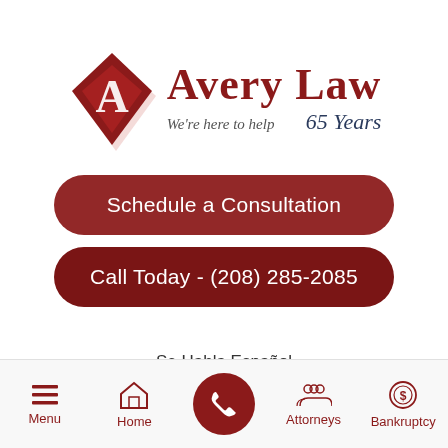[Figure (logo): Avery Law firm logo with diamond-shaped red icon with letter A, firm name 'Avery Law', tagline 'We're here to help', and '65 Years']
Schedule a Consultation
Call Today - (208) 285-2085
Se Habla Español
...most Idaho business is struggling to handle the current landscape of uncertainty. Whether a business owner is striving to increase market share, preserve their business, or plan out
[Figure (screenshot): Mobile navigation bar with Menu, Home, phone call button, Attorneys, and Bankruptcy icons]